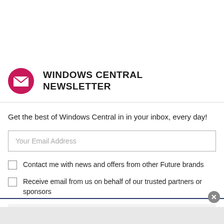[Figure (screenshot): Windows Central Newsletter signup modal overlay on a webpage. Contains a pink/magenta circular email icon, bold title 'WINDOWS CENTRAL NEWSLETTER', descriptive text, email input field, two checkboxes with labels, a dark submit button bar, and a close button.]
WINDOWS CENTRAL NEWSLETTER
Get the best of Windows Central in in your inbox, every day!
Contact me with news and offers from other Future brands
Receive email from us on behalf of our trusted partners or sponsors